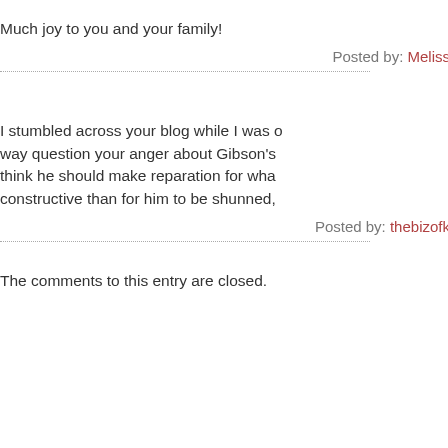Much joy to you and your family!
Posted by: Meliss
I stumbled across your blog while I was o way question your anger about Gibson's think he should make reparation for wha constructive than for him to be shunned,
Posted by: thebizofk
The comments to this entry are closed.